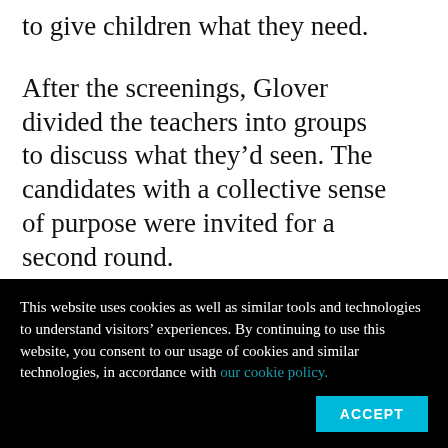to give children what they need.
After the screenings, Glover divided the teachers into groups to discuss what they'd seen. The candidates with a collective sense of purpose were invited for a second round.
Rosemary Coyle, 28, from another Newark school that closed, said she was so inspired by Glover's passion during her interviews that she
This website uses cookies as well as similar tools and technologies to understand visitors' experiences. By continuing to use this website, you consent to our usage of cookies and similar technologies, in accordance with our cookie policy.